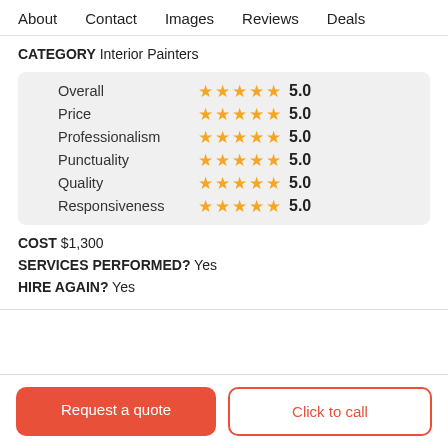About   Contact   Images   Reviews   Deals
CATEGORY Interior Painters
| Category | Stars | Score |
| --- | --- | --- |
| Overall | ★★★★★ | 5.0 |
| Price | ★★★★★ | 5.0 |
| Professionalism | ★★★★★ | 5.0 |
| Punctuality | ★★★★★ | 5.0 |
| Quality | ★★★★★ | 5.0 |
| Responsiveness | ★★★★★ | 5.0 |
COST $1,300
SERVICES PERFORMED? Yes
HIRE AGAIN? Yes